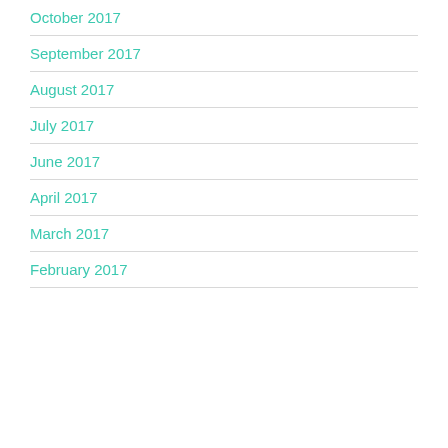October 2017
September 2017
August 2017
July 2017
June 2017
April 2017
March 2017
February 2017